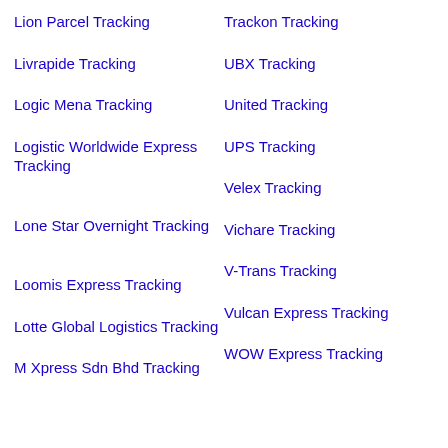Lion Parcel Tracking
Trackon Tracking
Livrapide Tracking
UBX Tracking
Logic Mena Tracking
United Tracking
Logistic Worldwide Express Tracking
UPS Tracking
Lone Star Overnight Tracking
Velex Tracking
Loomis Express Tracking
Vichare Tracking
Lotte Global Logistics Tracking
V-Trans Tracking
M Xpress Sdn Bhd Tracking
Vulcan Express Tracking
WOW Express Tracking
Yanwen Post Tracking